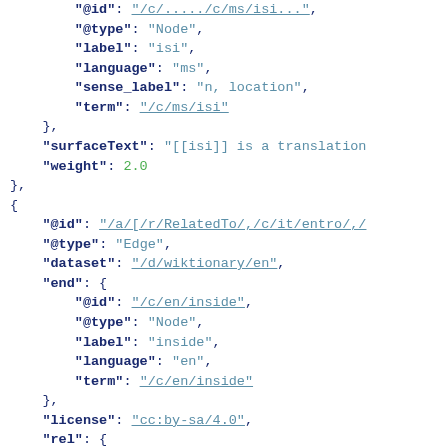JSON/linked data code snippet showing ConceptNet edge data with @type Node, label isi, language ms, sense_label n location, term /c/ms/isi, surfaceText [[isi]] is a translation, weight 2.0, then an Edge entry with @id /a/[/r/RelatedTo/,/c/it/entro/,/, @type Edge, dataset /d/wiktionary/en, end node @id /c/en/inside, @type Node, label inside, language en, term /c/en/inside, license cc:by-sa/4.0, rel @id /r/RelatedTo, @type Relation, label RelatedTo